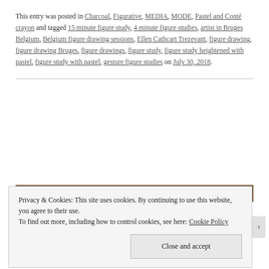This entry was posted in Charcoal, Figurative, MEDIA, MODE, Pastel and Conté crayon and tagged 15 minute figure study, 4 minute figure studies, artist in Bruges Belgium, Belgium figure drawing sessions, Ellen Cathcart Trezevant, figure drawing, figure drawing Bruges, figure drawings, figure study, figure study heightened with pastel, figure study with pastel, gesture figure studies on July 30, 2018.
Privacy & Cookies: This site uses cookies. By continuing to use this website, you agree to their use.
To find out more, including how to control cookies, see here: Cookie Policy